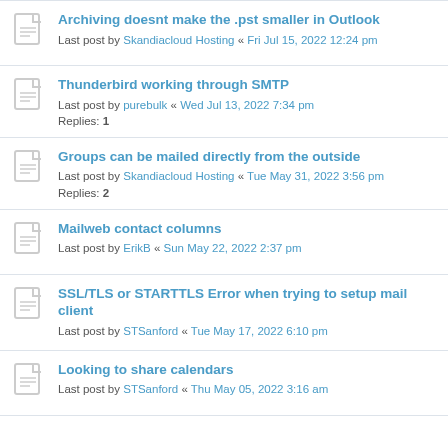Archiving doesnt make the .pst smaller in Outlook
Last post by Skandiacloud Hosting « Fri Jul 15, 2022 12:24 pm
Thunderbird working through SMTP
Last post by purebulk « Wed Jul 13, 2022 7:34 pm
Replies: 1
Groups can be mailed directly from the outside
Last post by Skandiacloud Hosting « Tue May 31, 2022 3:56 pm
Replies: 2
Mailweb contact columns
Last post by ErikB « Sun May 22, 2022 2:37 pm
SSL/TLS or STARTTLS Error when trying to setup mail client
Last post by STSanford « Tue May 17, 2022 6:10 pm
Looking to share calendars
Last post by STSanford « Thu May 05, 2022 3:16 am